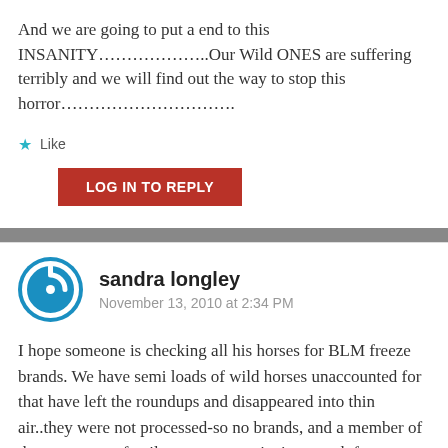And we are going to put a end to this INSANITY………………..Our Wild ONES are suffering terribly and we will find out the way to stop this horror………………………….
★ Like
LOG IN TO REPLY
sandra longley
November 13, 2010 at 2:34 PM
I hope someone is checking all his horses for BLM freeze brands. We have semi loads of wild horses unaccounted for that have left the roundups and disappeared into thin air..they were not processed-so no brands, and a member of the contractors family was seen retrieving a sack from behind some sagebrush, which may have been payola.. you can pull